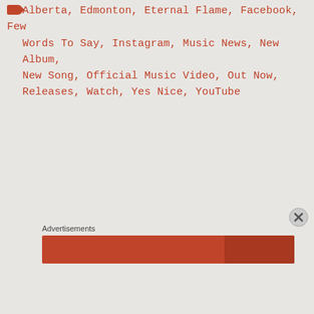Alberta, Edmonton, Eternal Flame, Facebook, Few Words To Say, Instagram, Music News, New Album, New Song, Official Music Video, Out Now, Releases, Watch, Yes Nice, YouTube
Advertisements